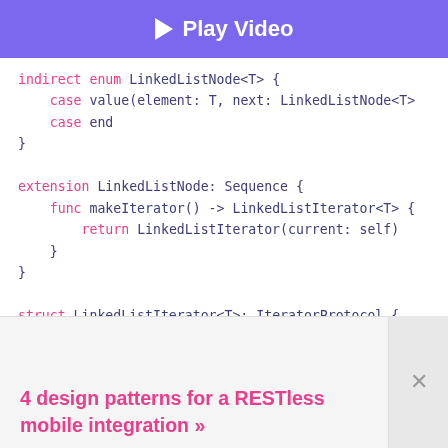[Figure (screenshot): Play Video button bar with purple background]
indirect enum LinkedListNode<T> {
    case value(element: T, next: LinkedListNode<T>
    case end
}

extension LinkedListNode: Sequence {
    func makeIterator() -> LinkedListListIterator<T> {
        return LinkedListIterator(current: self)
    }
}

struct LinkedListIterator<T>: IteratorProtocol {

    var current: LinkedListNode<T>

    mutating func next() -> T? {
4 design patterns for a RESTless mobile integration »
case .end: